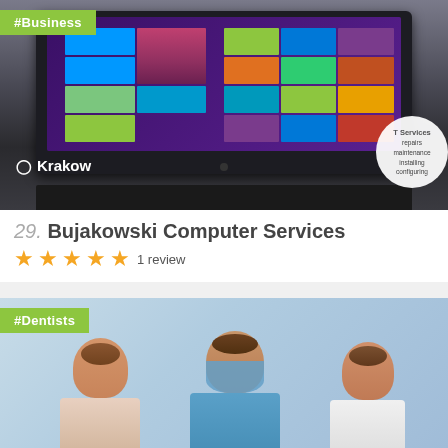[Figure (photo): Photo of a touchscreen monitor/laptop showing Windows 8 tile interface, with Krakow location label and IT Services bubble]
#Business
Krakow
IT Services
repairs
maintenance
installing
configuring
29. Bujakowski Computer Services
★★★★★ 1 review
[Figure (photo): Photo of three smiling dentists/medical professionals]
#Dentists